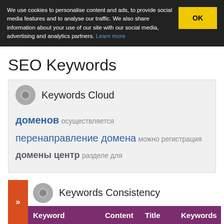We use cookies to personalise content and ads, to provide social media features and to analyse our traffic. We also share information about your use of our site with our social media, advertising and analytics partners. Learn more
SEO Keywords
Keywords Cloud
доменов осуществляется перенаправление домена можно регистрация домены центр разделе для
Keywords Consistency
| Keyword | Content | Title | Keywords |
| --- | --- | --- | --- |